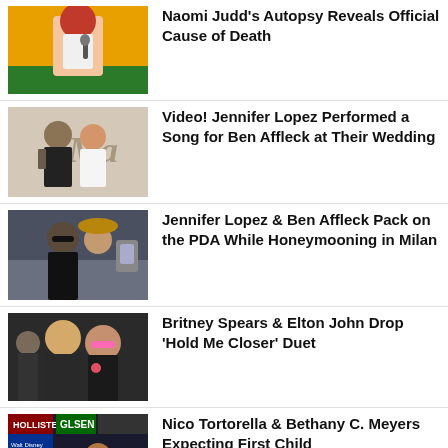Naomi Judd’s Autopsy Reveals Official Cause of Death
Video! Jennifer Lopez Performed a Song for Ben Affleck at Their Wedding
Jennifer Lopez & Ben Affleck Pack on the PDA While Honeymooning in Milan
Britney Spears & Elton John Drop ‘Hold Me Closer’ Duet
Nico Tortorella & Bethany C. Meyers Expecting First Child